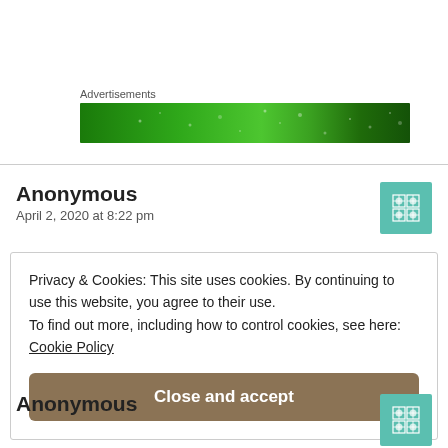Advertisements
[Figure (other): Green advertisement banner with light speckle pattern]
Anonymous
April 2, 2020 at 8:22 pm
Privacy & Cookies: This site uses cookies. By continuing to use this website, you agree to their use.
To find out more, including how to control cookies, see here:
Cookie Policy
Close and accept
Anonymous